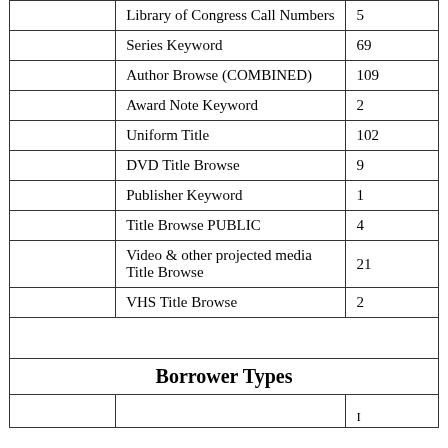|  |  |  |
| --- | --- | --- |
|  | Library of Congress Call Numbers | 5 |
|  | Series Keyword | 69 |
|  | Author Browse (COMBINED) | 109 |
|  | Award Note Keyword | 2 |
|  | Uniform Title | 102 |
|  | DVD Title Browse | 9 |
|  | Publisher Keyword | 1 |
|  | Title Browse PUBLIC | 4 |
|  | Video & other projected media Title Browse | 21 |
|  | VHS Title Browse | 2 |
| (spacer) |  |  |
| Borrower Types (header) |  |  |
| (partial row) |  |  |